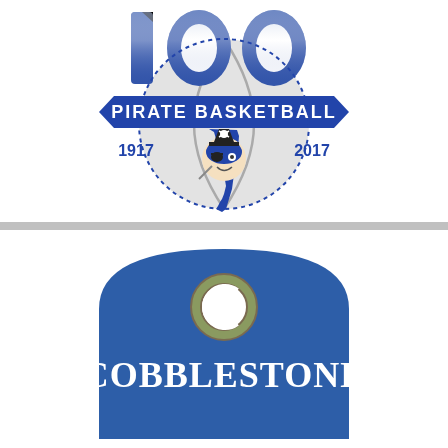[Figure (logo): 100 Pirate Basketball anniversary logo with large blue '100' numerals, a blue ribbon banner reading 'PIRATE BASKETBALL' with a pirate mascot head, an Indiana state silhouette with a pirate face, a basketball background graphic, and the years '1917' and '2017']
[Figure (logo): Cobblestone logo: blue arch-topped sign shape with a circular 'C' emblem (brown and tan colors) at top center, and the word 'COBBLESTONE' in large white serif letters below]